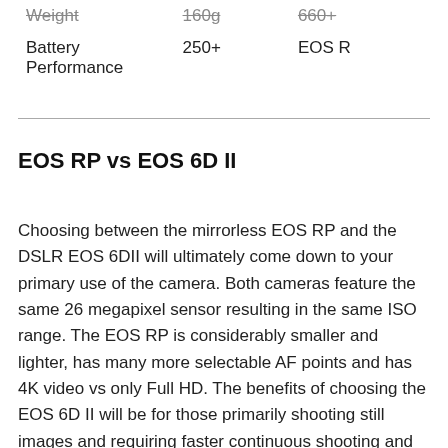| Weight | 160g | 660+ |
| Battery Performance | 250+ | EOS R |
EOS RP vs EOS 6D II
Choosing between the mirrorless EOS RP and the DSLR EOS 6DII will ultimately come down to your primary use of the camera. Both cameras feature the same 26 megapixel sensor resulting in the same ISO range. The EOS RP is considerably smaller and lighter, has many more selectable AF points and has 4K video vs only Full HD. The benefits of choosing the EOS 6D II will be for those primarily shooting still images and requiring faster continuous shooting and extended battery life. The larger DSLR 6DII is still desired by those with larger hands finding the DSLR more ergonomic to shoot with